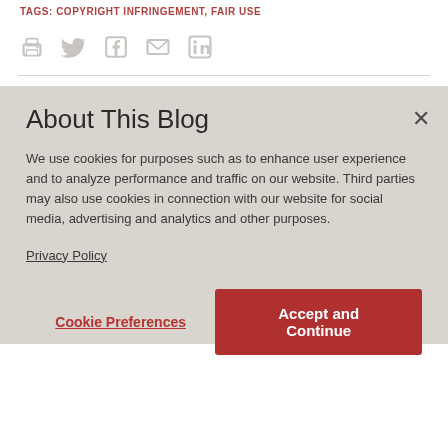TAGS: COPYRIGHT INFRINGEMENT, FAIR USE
[Figure (illustration): Row of social sharing icons: print, Twitter, Facebook, email, LinkedIn]
About This Blog
We use cookies for purposes such as to enhance user experience and to analyze performance and traffic on our website. Third parties may also use cookies in connection with our website for social media, advertising and analytics and other purposes.
Privacy Policy
Cookie Preferences    Accept and Continue